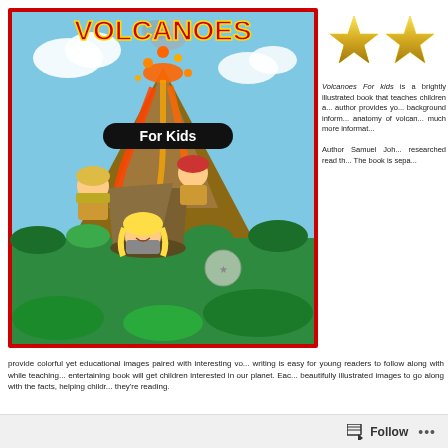[Figure (illustration): Book cover for 'Volcanoes For Kids' showing a cartoon illustrated scene with an erupting volcano, lava flows, smoke, and three children in explorer/scout outfits near a tent in a jungle setting. The title 'VOLCANOES' appears in large red letters at top and 'For Kids' on a dark banner below it.]
[Figure (illustration): Two gold star rating icons side by side]
Volcanoes For kids is a brightly illustrated book that teaches children about volcanoes, author provides yo... background inform... anatomy of volcan... much more informat...
Author Samuel Joh... researched read th... The book is sepa... provide colorful yet educational images paired with interesting vo... writing is easy for young readers to follow along with while teaching... entertaining book will get children interested in our planet. Eac... beautifully illustrated images to go along with the facts, helping childr... they're reading.
Follow ...